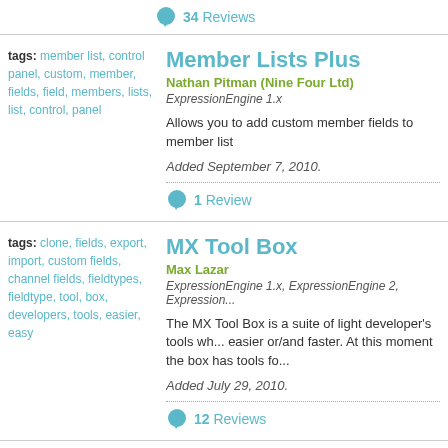34 Reviews
tags: member list, control panel, custom, member, fields, field, members, lists, list, control, panel
Member Lists Plus
Nathan Pitman (Nine Four Ltd)
ExpressionEngine 1.x
Allows you to add custom member fields to member list
Added September 7, 2010.
1 Review
tags: clone, fields, export, import, custom fields, channel fields, fieldtypes, fieldtype, tool, box, developers, tools, easier, easy
MX Tool Box
Max Lazar
ExpressionEngine 1.x, ExpressionEngine 2, Expression...
The MX Tool Box is a suite of light developer's tools wh... easier or/and faster. At this moment the box has tools fo...
Added July 29, 2010.
12 Reviews